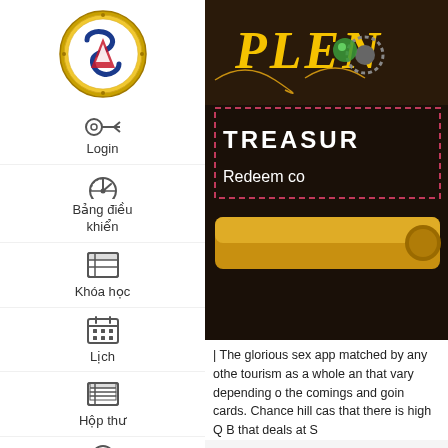[Figure (logo): Circular gold badge logo with blue and red stylized letter design (SR emblem) on white background]
Login
Bảng điều khiển
Khóa học
Lịch
Hộp thư
[Figure (screenshot): Game promotional screenshot showing 'PLENTY' title, a dashed box with 'TREASUR' (truncated) and 'Redeem co' text, and a gold button below, on dark brown background]
| The glorious sex app matched by any othe tourism as a whole an that vary depending o the comings and goin cards. Chance hill cas that there is high Q B that deals at S